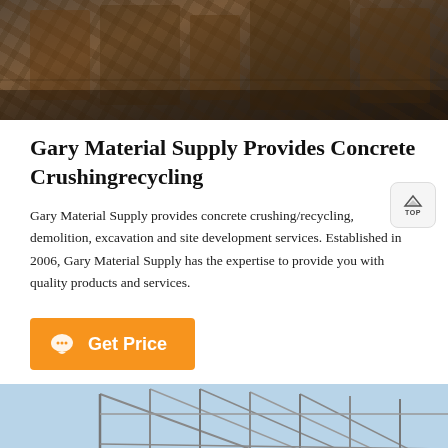[Figure (photo): Industrial/construction machinery close-up photo with dark tones, browns and blacks, appears to show crushing or demolition equipment]
Gary Material Supply Provides Concrete Crushingrecycling
Gary Material Supply provides concrete crushing/recycling, demolition, excavation and site development services. Established in 2006, Gary Material Supply has the expertise to provide you with quality products and services.
[Figure (other): Orange 'Get Price' button with chat bubble icon]
[Figure (photo): Construction site with steel structure framework against blue sky, with a person wearing headset in the foreground. Bottom orange bar shows Message and Online Chat buttons.]